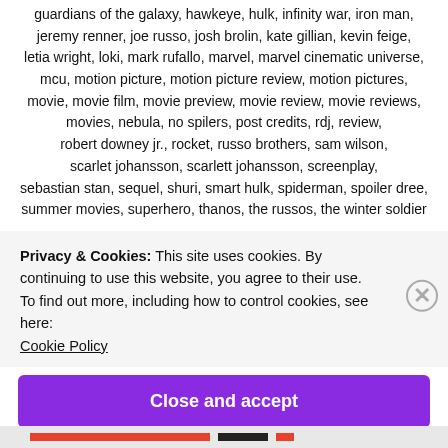guardians of the galaxy, hawkeye, hulk, infinity war, iron man, jeremy renner, joe russo, josh brolin, kate gillian, kevin feige, letia wright, loki, mark rufallo, marvel, marvel cinematic universe, mcu, motion picture, motion picture review, motion pictures, movie, movie film, movie preview, movie review, movie reviews, movies, nebula, no spilers, post credits, rdj, review, robert downey jr., rocket, russo brothers, sam wilson, scarlet johansson, scarlett johansson, screenplay, sebastian stan, sequel, shuri, smart hulk, spiderman, spoiler dree, summer movies, superhero, thanos, the russos, the winter soldier
Privacy & Cookies: This site uses cookies. By continuing to use this website, you agree to their use.
To find out more, including how to control cookies, see here: Cookie Policy
Close and accept